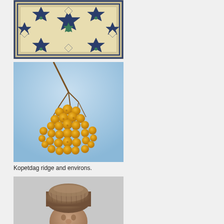[Figure (photo): Close-up of decorative Islamic geometric mosaic tilework with star patterns in blue, green, and cream/white colors]
[Figure (photo): Cluster of yellow/golden date palm fruits hanging on branches against a light blue sky]
Kopetdag ridge and environs.
[Figure (photo): Person wearing a traditional brown/grey fur hat, partially visible from forehead up]